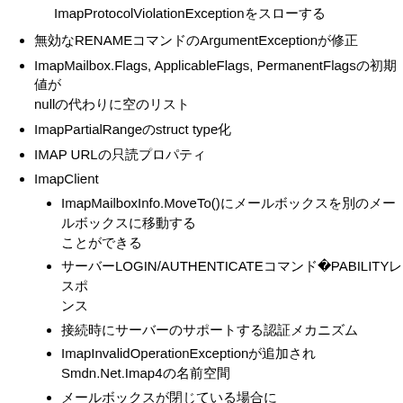ImapProtocolViolationExceptionをスローする
無効なRENAMEコマンドのArgumentExceptionが修正
ImapMailbox.Flags, ApplicableFlags, PermanentFlagsの初期値がnullの代わりに空のリスト
ImapPartialRangeのstruct type化
IMAP URLの只読プロパティ
ImapClient
ImapMailboxInfo.MoveTo()にメールボックスを別のメールボックスに移動する
サーバーLOGIN/AUTHENTICATEコマンドがCAPABILITYレスポンス
接続時にサーバーのサポートする認証メカニズム
ImapInvalidOperationExceptionが追加され Smdn.Net.Imap4の名前空間
メールボックスが閉じている場合に ImapMailboxClosedExceptionをスロー